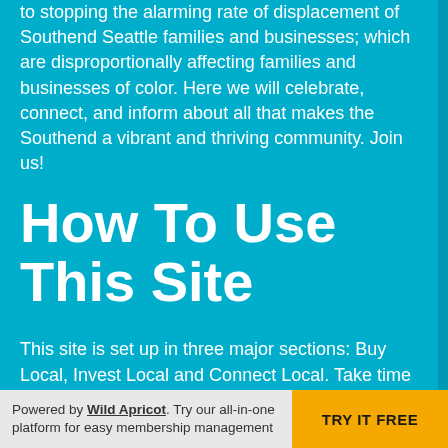to stopping the alarming rate of displacement of Southend Seattle families and businesses; which are disproportionally affecting families and businesses of color. Here we will celebrate, connect, and inform about all that makes the Southend a vibrant and thriving community. Join us!
How To Use This Site
This site is set up in three major sections: Buy Local, Invest Local and Connect Local. Take time to learn who the thought and action leaders are in Southeast Seattle . CLICK on their "like" buttons and follow a
Powered by Wild Apricot. Try our all-in-one platform for easy membership management  TRY IT FREE